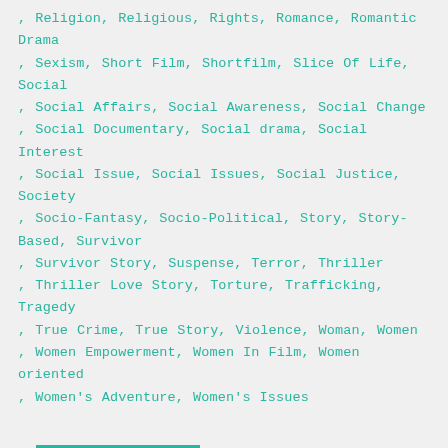, Religion, Religious, Rights, Romance, Romantic Drama , Sexism, Short Film, Shortfilm, Slice Of Life, Social , Social Affairs, Social Awareness, Social Change , Social Documentary, Social drama, Social Interest , Social Issue, Social Issues, Social Justice, Society , Socio-Fantasy, Socio-Political, Story, Story-Based, Survivor , Survivor Story, Suspense, Terror, Thriller , Thriller Love Story, Torture, Trafficking, Tragedy , True Crime, True Story, Violence, Woman, Women , Women Empowerment, Women In Film, Women oriented , Women's Adventure, Women's Issues
READ MORE
Ever, Rêve, Hélène Cixous